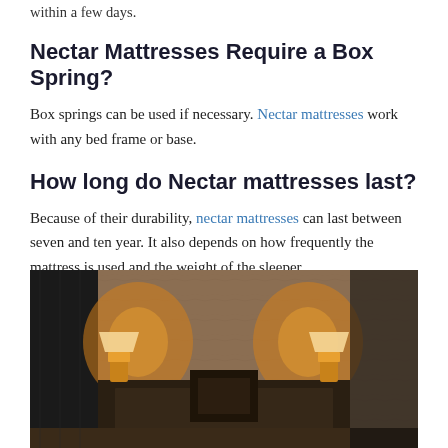within a few days.
Nectar Mattresses Require a Box Spring?
Box springs can be used if necessary. Nectar mattresses work with any bed frame or base.
How long do Nectar mattresses last?
Because of their durability, nectar mattresses can last between seven and ten year. It also depends on how frequently the mattress is used and the weight of the sleeper.
[Figure (photo): Bedroom scene with warm lighting showing a dark wooden sideboard/console with two lamps illuminating either side against a textured brown wall, with a dark decorative panel on the left.]